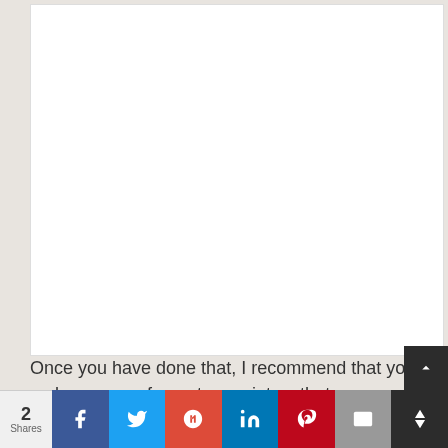[Figure (other): Large white blank area, likely an embedded image or advertisement placeholder]
Once you have done that, I recommend that you make a copy of your transcript so that you can write directly on it. You can also do your calculations in a
2 Shares | Facebook | Twitter | Google+ | LinkedIn | Pinterest | Email | More